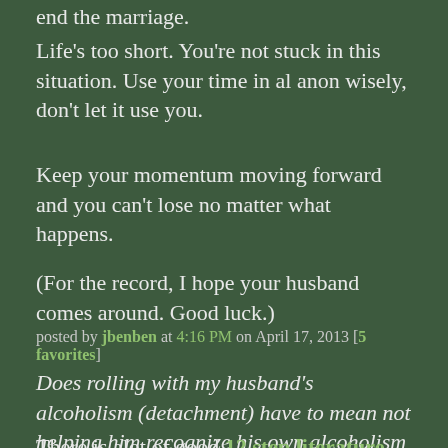end the marriage.
Life's too short. You're not stuck in this situation. Use your time in al anon wisely, don't let it use you.
Keep your momentum moving forward and you can't lose no matter what happens.
(For the record, I hope your husband comes around. Good luck.)
posted by jbenben at 4:16 PM on April 17, 2013 [5 favorites]
Does rolling with my husband's alcoholism (detachment) have to mean not helping him recognize his own alcoholism and seeking treatment for it? Because I'd much rather he get help, obviously
There is alot of good 12 step literature that describes what